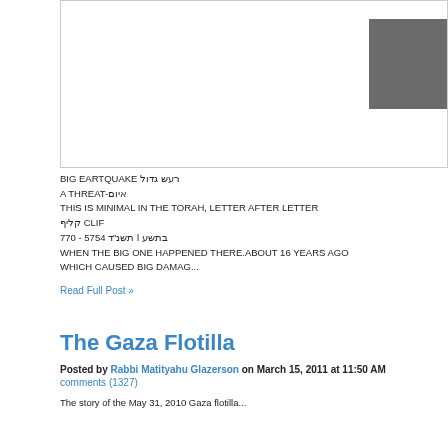[Figure (other): Image area with gray box in upper right corner, mostly white/blank content area with border]
BIG EARTQUAKE רעש גדול
A THREAT-איום
THIS IS MINIMAL IN THE TORAH, LETTER AFTER LETTER
קליף CLIF
תשנ"ד 5754 - 770 l בתשע
WHEN THE BIG ONE HAPPENED THERE.ABOUT 16 YEARS AGO
WHICH CAUSED BIG DAMAG...
Read Full Post »
The Gaza Flotilla
Posted by Rabbi Matityahu Glazerson on March 15, 2011 at 11:50 AM
comments (1327)
The story of the May 31, 2010 Gaza flotilla... all descriptions of accompanying text...